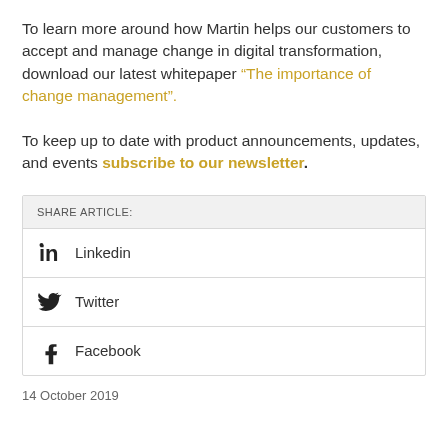To learn more around how Martin helps our customers to accept and manage change in digital transformation, download our latest whitepaper “The importance of change management”.
To keep up to date with product announcements, updates, and events subscribe to our newsletter.
| SHARE ARTICLE: |
| --- |
| Linkedin |
| Twitter |
| Facebook |
14 October 2019